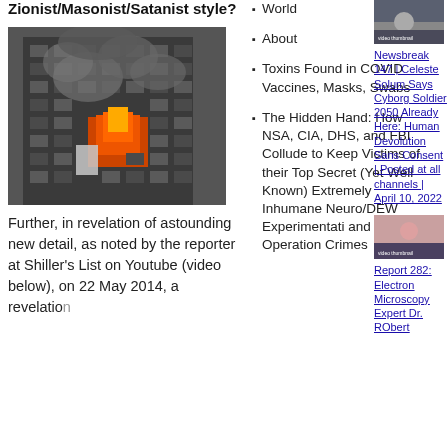Zionist/Masonist/Satanist style?
[Figure (photo): A tall building engulfed in fire with black smoke billowing out, windows showing flames, black and white photo with orange fire visible]
Further, in revelation of astounding new detail, as noted by the reporter at Shiller's List on Youtube (video below), on 22 May 2014, a revelation
World
About
Toxins Found in COVID Vaccines, Masks, Swabs
The Hidden Hand: How NSA, CIA, DHS, and FBI Collude to Keep Victims of their Top Secret (Yet Well Known) Extremely Inhumane Neuro/DEW Experimentati and Operation Crimes
[Figure (photo): Thumbnail image showing a woman speaking, sidebar video thumbnail]
Newsbreak 147 | Celeste Solum Says Cyborg Soldier 2050 Already Here: Human Devolution Sans Consent | Posted at all channels | April 10, 2022
[Figure (photo): Thumbnail image showing a person, sidebar video thumbnail]
Report 282: Electron Microscopy Expert Dr. RObert